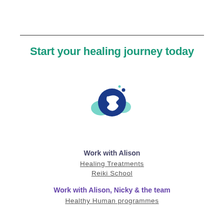Start your healing journey today
[Figure (illustration): Phone/call icon with teal and dark blue color scheme, showing a handset inside a dark blue circle with small teal bubble shapes around it]
Work with Alison
Healing Treatments
Reiki School
Work with Alison, Nicky & the team
Healthy Human programmes